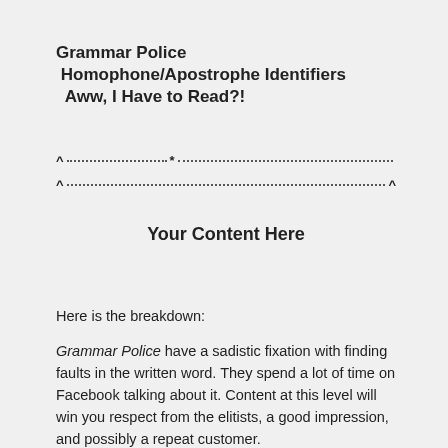Grammar Police
 Homophone/Apostrophe Identifiers
 Aww, I Have to Read?!
^ .............. * ...............................................
^ ...................................................... ^
Your Content Here
Here is the breakdown:
Grammar Police have a sadistic fixation with finding faults in the written word. They spend a lot of time on Facebook talking about it. Content at this level will win you respect from the elitists, a good impression, and possibly a repeat customer.